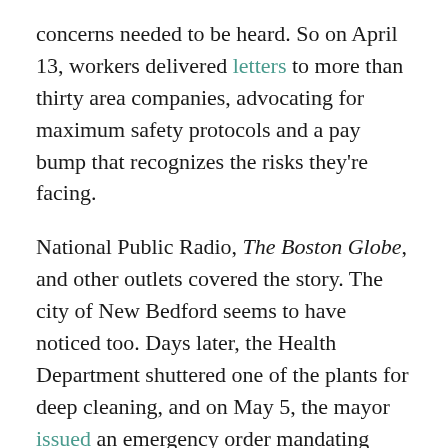concerns needed to be heard. So on April 13, workers delivered letters to more than thirty area companies, advocating for maximum safety protocols and a pay bump that recognizes the risks they're facing.
National Public Radio, The Boston Globe, and other outlets covered the story. The city of New Bedford seems to have noticed too. Days later, the Health Department shuttered one of the plants for deep cleaning, and on May 5, the mayor issued an emergency order mandating vigorous COVID-19-related safety protections at all industrial plants, and compliance with all applicable sick pay laws.
“The owners of these factories can save the lives of